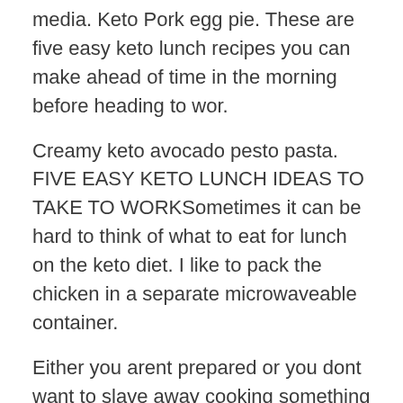media. Keto Pork egg pie. These are five easy keto lunch recipes you can make ahead of time in the morning before heading to wor.
Creamy keto avocado pesto pasta. FIVE EASY KETO LUNCH IDEAS TO TAKE TO WORKSometimes it can be hard to think of what to eat for lunch on the keto diet. I like to pack the chicken in a separate microwaveable container.
Either you arent prepared or you dont want to slave away cooking something just for lunch. Salmon is a very healthy fish to have on keto thanks to its fat and protein content. Easy keto recipe 2.
And a coconut curry soup using an Almond Cow. 23 Easy keto lunch ideas to take to work. Keto pizza chicken meal prep.
Also make sure you hit the notification bell so you will get notified when we upload a new video filled with keto ideas recipes. I pack grilled chicken salads for lunch pretty regularly. It looks like getting to more content for the same.